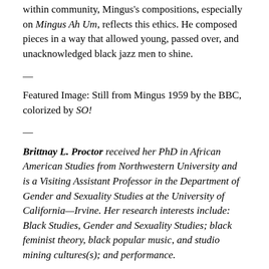within community, Mingus's compositions, especially on Mingus Ah Um, reflects this ethics. He composed pieces in a way that allowed young, passed over, and unacknowledged black jazz men to shine.
—
Featured Image: Still from Mingus 1959 by the BBC, colorized by SO!
—
Brittnay L. Proctor received her PhD in African American Studies from Northwestern University and is a Visiting Assistant Professor in the Department of Gender and Sexuality Studies at the University of California—Irvine. Her research interests include: Black Studies, Gender and Sexuality Studies; black feminist theory, black popular music, and studio mining cultures(s); and performance.